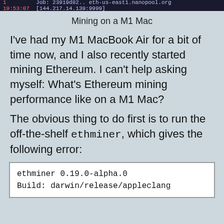[Figure (screenshot): Terminal status bar showing: 1 19:53:07, Job: 23919d82.. eth-us-east1.nanopool.org [144.217.14.139:9999]]
Mining on a M1 Mac
I've had my M1 MacBook Air for a bit of time now, and I also recently started mining Ethereum. I can't help asking myself: What's Ethereum mining performance like on a M1 Mac?
The obvious thing to do first is to run the off-the-shelf ethminer, which gives the following error:
ethminer 0.19.0-alpha.0
Build: darwin/release/appleclang